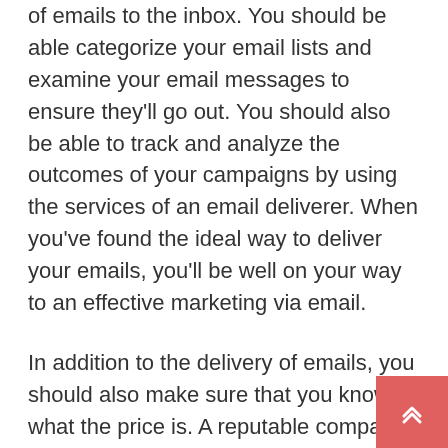of emails to the inbox. You should be able categorize your email lists and examine your email messages to ensure they'll go out. You should also be able to track and analyze the outcomes of your campaigns by using the services of an email deliverer. When you've found the ideal way to deliver your emails, you'll be well on your way to an effective marketing via email.
In addition to the delivery of emails, you should also make sure that you know what the price is. A reputable company should be competent to disclose the percentage of delivery for the email campaigns you've chosen and what you can expect. This is crucial in deciding on an services for